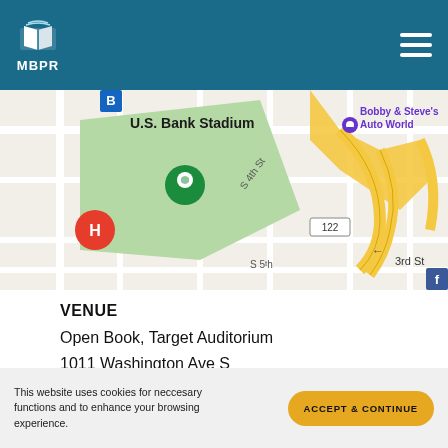MBPR
[Figure (map): Google Maps screenshot showing area around U.S. Bank Stadium in Minneapolis, MN. Green area marks the stadium grounds. Yellow lines show highway interchange. Labels visible: U.S. Bank Stadium, Bobby & Steve's Auto World, S 4th St, S 5th St, 3rd St, Route 122. Red pin marked H and green pin visible.]
VENUE
Open Book, Target Auditorium
1011 Washington Ave S
Minneapolis, MN 55415 United States + Google Map
This website uses cookies for neccesary functions and to enhance your browsing experience.